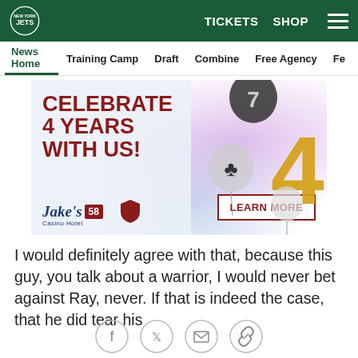New York Jets | TICKETS  SHOP
News Home  Training Camp  Draft  Combine  Free Agency  Fe
[Figure (photo): Jake's 58 Casino Hotel advertisement: 'CELEBRATE 4 YEARS WITH US!' with balloons and a LEARN MORE button]
I would definitely agree with that, because this guy, you talk about a warrior, I would never bet against Ray, never. If that is indeed the case, that he did tear his
Social sharing icons: Facebook, Twitter, Email, Link